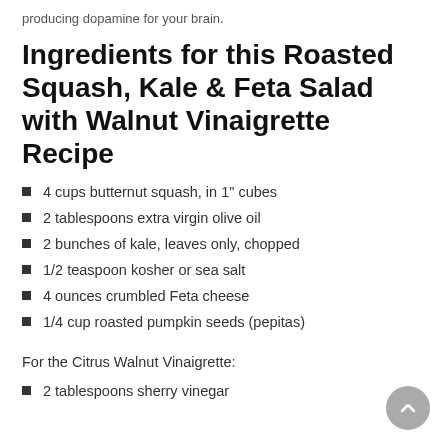producing dopamine for your brain.
Ingredients for this Roasted Squash, Kale & Feta Salad with Walnut Vinaigrette Recipe
4 cups butternut squash, in 1" cubes
2 tablespoons extra virgin olive oil
2 bunches of kale, leaves only, chopped
1/2 teaspoon kosher or sea salt
4 ounces crumbled Feta cheese
1/4 cup roasted pumpkin seeds (pepitas)
For the Citrus Walnut Vinaigrette:
2 tablespoons sherry vinegar